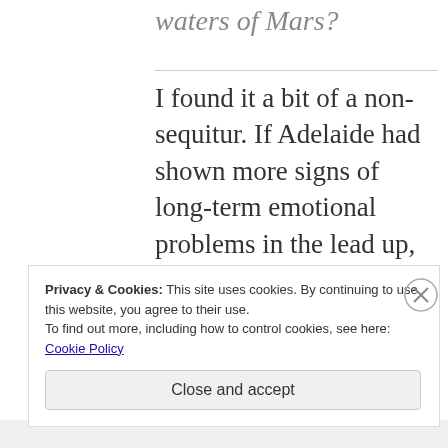waters of Mars?
I found it a bit of a non-sequitur. If Adelaide had shown more signs of long-term emotional problems in the lead up,
Privacy & Cookies: This site uses cookies. By continuing to use this website, you agree to their use.
To find out more, including how to control cookies, see here: Cookie Policy
Close and accept